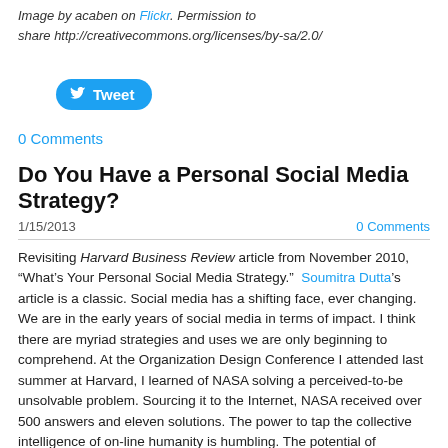Image by acaben on Flickr. Permission to share http://creativecommons.org/licenses/by-sa/2.0/
[Figure (other): Twitter Tweet button (rounded blue button with bird icon and 'Tweet' label)]
0 Comments
Do You Have a Personal Social Media Strategy?
1/15/2013    0 Comments
Revisiting Harvard Business Review article from November 2010, “What’s Your Personal Social Media Strategy.”  Soumitra Dutta’s article is a classic. Social media has a shifting face, ever changing. We are in the early years of social media in terms of impact. I think there are myriad strategies and uses we are only beginning to comprehend. At the Organization Design Conference I attended last summer at Harvard, I learned of NASA solving a perceived-to-be unsolvable problem. Sourcing it to the Internet, NASA received over 500 answers and eleven solutions. The power to tap the collective intelligence of on-line humanity is humbling. The potential of crowdsourcing, as this is called, is enormous.